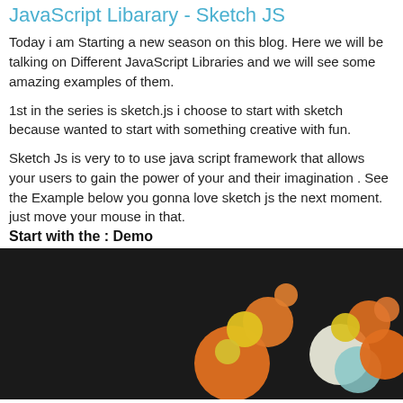JavaScript Libarary - Sketch JS
Today i am Starting a new season on this blog. Here we will be talking on Different JavaScript Libraries and we will see some amazing examples of them.
1st in the series is sketch.js i choose to start with sketch because wanted to start with something creative with fun.
Sketch Js is very to to use java script framework that allows your users to gain the power of your and their imagination . See the Example below you gonna love sketch js the next moment. just move your mouse in that.
Start with the : Demo
[Figure (screenshot): Dark canvas demo showing colorful circles (orange, yellow, white, teal) on a black background, demonstrating the Sketch.js interactive canvas library.]